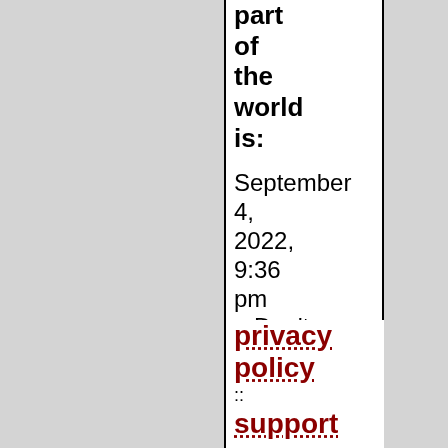part of the world is:
September 4, 2022, 9:36 pm   Don't worry neither one sleeps very long!
privacy policy :: support us :: home